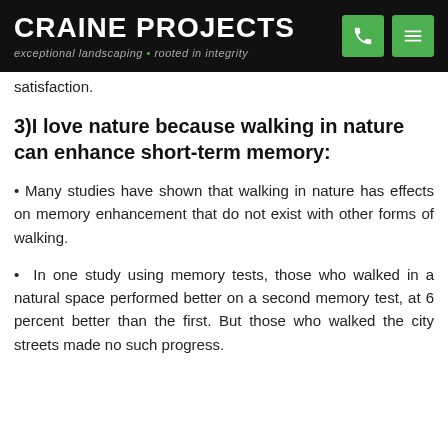CRAINE PROJECTS
exceptional landscaping • rooted in integrity
satisfaction.
3)I love nature because walking in nature can enhance short-term memory:
Many studies have shown that walking in nature has effects on memory enhancement that do not exist with other forms of walking.
In one study using memory tests, those who walked in a natural space performed better on a second memory test, at 6 percent better than the first. But those who walked the city streets made no such progress.